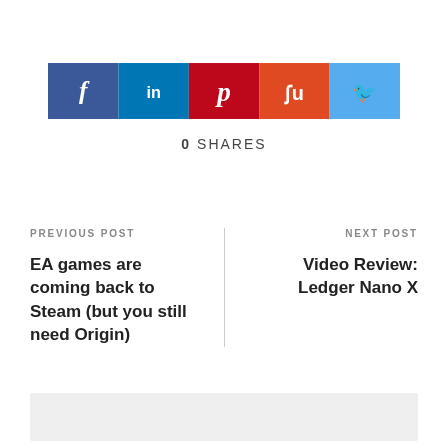[Figure (other): Social share buttons row: Facebook (blue), LinkedIn (dark blue), Pinterest (dark red), StumbleUpon (orange-red), Twitter (light blue)]
0  SHARES
PREVIOUS POST
EA games are coming back to Steam (but you still need Origin)
NEXT POST
Video Review: Ledger Nano X